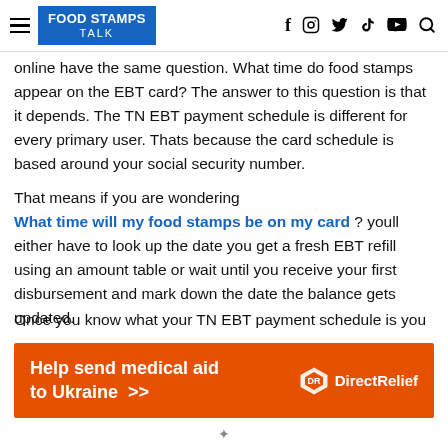FOOD STAMPS TALK — navigation header with social icons
online have the same question. What time do food stamps appear on the EBT card? The answer to this question is that it depends. The TN EBT payment schedule is different for every primary user. Thats because the card schedule is based around your social security number.
That means if you are wondering What time will my food stamps be on my card ? youll either have to look up the date you get a fresh EBT refill using an amount table or wait until you receive your first disbursement and mark down the date the balance gets updated.
Once you know what your TN EBT payment schedule is you
[Figure (other): Orange advertisement banner: Help send medical aid to Ukraine >> with Direct Relief logo in white on orange background]